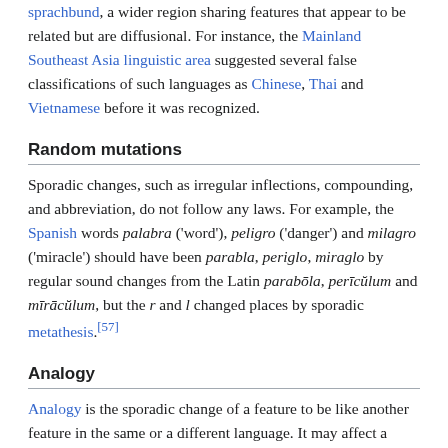sprachbund, a wider region sharing features that appear to be related but are diffusional. For instance, the Mainland Southeast Asia linguistic area suggested several false classifications of such languages as Chinese, Thai and Vietnamese before it was recognized.
Random mutations
Sporadic changes, such as irregular inflections, compounding, and abbreviation, do not follow any laws. For example, the Spanish words palabra ('word'), peligro ('danger') and milagro ('miracle') should have been parabla, periglo, miraglo by regular sound changes from the Latin parabōla, perīcŭlum and mīrācŭlum, but the r and l changed places by sporadic metathesis.[57]
Analogy
Analogy is the sporadic change of a feature to be like another feature in the same or a different language. It may affect a single word or be generalized to an entire class of features, such as a verb paradigm. For example, the Russian word for nine, by regular sound changes from Proto-Slavic, should have been /nʲevʲatʲ/, but is